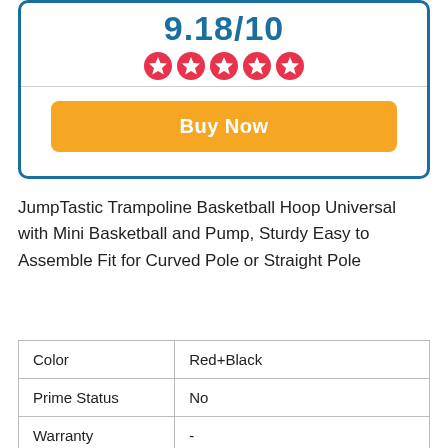9.18/10
[Figure (illustration): Five red star rating icons in a row]
Buy Now
JumpTastic Trampoline Basketball Hoop Universal with Mini Basketball and Pump, Sturdy Easy to Assemble Fit for Curved Pole or Straight Pole
| Color | Red+Black |
| Prime Status | No |
| Warranty | - |
| Brand | Jump Tastic Trampoline |